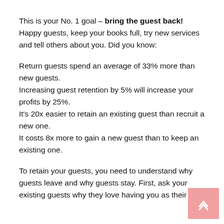This is your No. 1 goal – bring the guest back! Happy guests, keep your books full, try new services and tell others about you. Did you know:
Return guests spend an average of 33% more than new guests.
Increasing guest retention by 5% will increase your profits by 25%.
It's 20x easier to retain an existing guest than recruit a new one.
It costs 8x more to gain a new guest than to keep an existing one.
To retain your guests, you need to understand why guests leave and why guests stay. First, ask your existing guests why they love having you as their